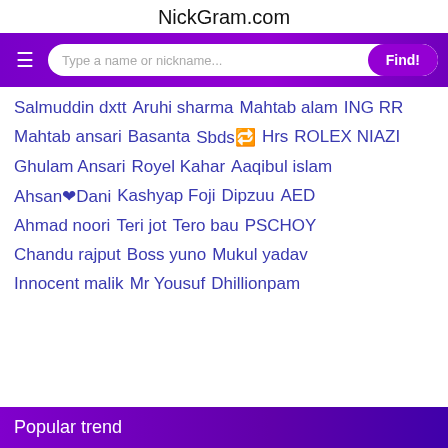NickGram.com
Salmuddin dxtt   Aruhi sharma   Mahtab alam   ING RR
Mahtab ansari   Basanta   Sbds🔁   Hrs   ROLEX NIAZI
Ghulam Ansari   Royel Kahar   Aaqibul islam
Ahsan❤Dani   Kashyap Foji   Dipzuu   AED
Ahmad noori   Teri jot   Tero bau   PSCHOY
Chandu rajput   Boss yuno   Mukul yadav
Innocent malik   Mr Yousuf   Dhillionpam
Popular trend